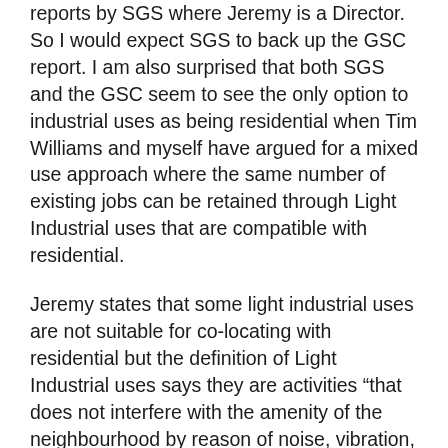reports by SGS where Jeremy is a Director. So I would expect SGS to back up the GSC report. I am also surprised that both SGS and the GSC seem to see the only option to industrial uses as being residential when Tim Williams and myself have argued for a mixed use approach where the same number of existing jobs can be retained through Light Industrial uses that are compatible with residential.
Jeremy states that some light industrial uses are not suitable for co-locating with residential but the definition of Light Industrial uses says they are activities "that does not interfere with the amenity of the neighbourhood by reason of noise, vibration, smell...."(and a long list follows). The changing nature of work means activities that were once noisy,smelly etc are now compatible with residential. The GSC / SGS approach is to imply all industrial land will be smelly and noisy so it must be kept away from residential uses. This is not the case and a more nuanced understanding of uses can make mixed use preci... like those Jane Jacobs called for so many decades ago a r... And younger generations want the dynamics of a bustling